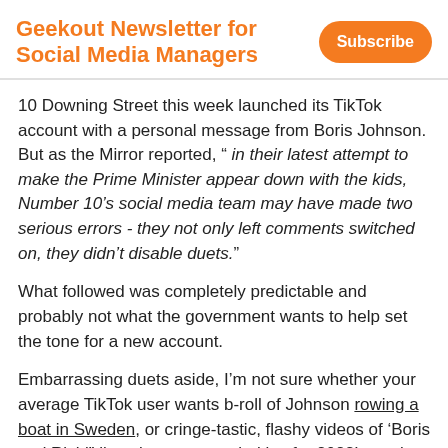Geekout Newsletter for Social Media Managers
10 Downing Street this week launched its TikTok account with a personal message from Boris Johnson. But as the Mirror reported, “ in their latest attempt to make the Prime Minister appear down with the kids, Number 10’s social media team may have made two serious errors - they not only left comments switched on, they didn’t disable duets.”
What followed was completely predictable and probably not what the government wants to help set the tone for a new account.
Embarrassing duets aside, I’m not sure whether your average TikTok user wants b-roll of Johnson rowing a boat in Sweden, or cringe-tastic, flashy videos of ‘Boris and Rishi” listening to your priorities for 2022’ popping